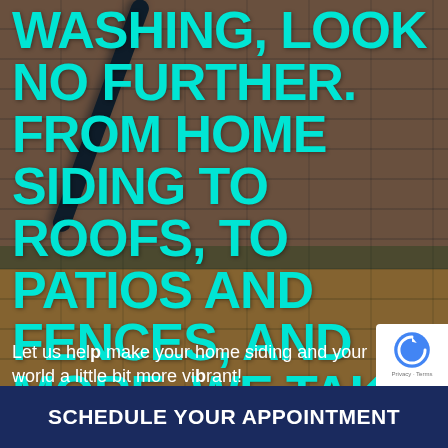[Figure (photo): Background photo of brick/patio surface with a pressure washer hose visible diagonally across the upper portion. Brick tiles are orange-brown with mortar lines. A dark garden/pressure hose is prominently visible.]
WASHING, LOOK NO FURTHER. FROM HOME SIDING TO ROOFS, TO PATIOS AND FENCES, AND MORE, WE TAKE CARE OF ALL OF IT.
Let us help make your home siding and your world a little bit more vibrant!
SCHEDULE YOUR APPOINTMENT